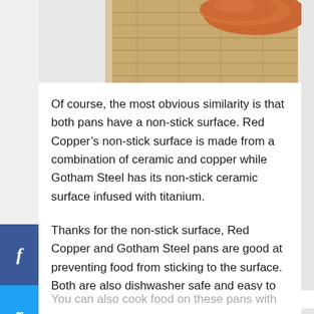[Figure (photo): Partial photo of a food item on a wooden cutting board, cropped at the top of the page]
Of course, the most obvious similarity is that both pans have a non-stick surface. Red Copper’s non-stick surface is made from a combination of ceramic and copper while Gotham Steel has its non-stick ceramic surface infused with titanium.
Thanks for the non-stick surface, Red Copper and Gotham Steel pans are good at preventing food from sticking to the surface. Both are also dishwasher safe and easy to clean.
You can also cook food on these pans with